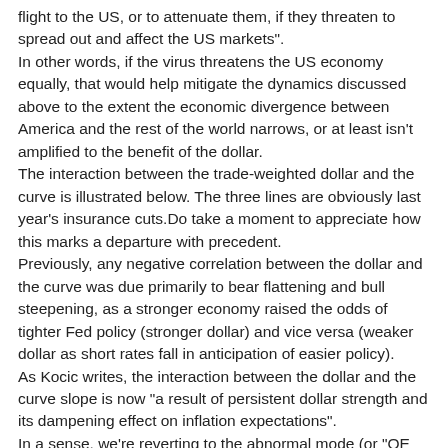flight to the US, or to attenuate them, if they threaten to spread out and affect the US markets". In other words, if the virus threatens the US economy equally, that would help mitigate the dynamics discussed above to the extent the economic divergence between America and the rest of the world narrows, or at least isn't amplified to the benefit of the dollar. The interaction between the trade-weighted dollar and the curve is illustrated below. The three lines are obviously last year's insurance cuts.Do take a moment to appreciate how this marks a departure with precedent. Previously, any negative correlation between the dollar and the curve was due primarily to bear flattening and bull steepening, as a stronger economy raised the odds of tighter Fed policy (stronger dollar) and vice versa (weaker dollar as short rates fall in anticipation of easier policy). As Kocic writes, the interaction between the dollar and the curve slope is now "a result of persistent dollar strength and its dampening effect on inflation expectations". In a sense, we're reverting to the abnormal mode (or "QE mode") of curve dynamics seen post-crisis. Shocks are now arriving at the backend again, this time courtesy of the dollar-